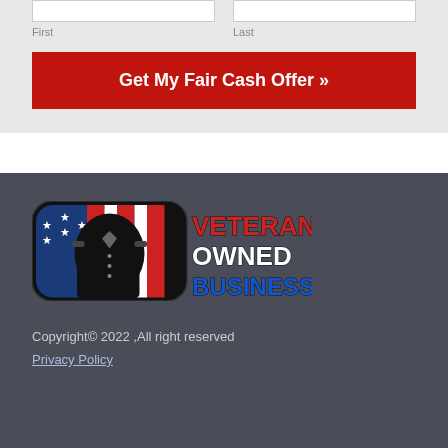First
Last
Get My Fair Cash Offer »
[Figure (logo): Veteran Owned Business logo with American flag and military uniform graphic on left, bold text VETERAN OWNED BUSINESS on right]
Copyright© 2022 ,All right reserved
Privacy Policy